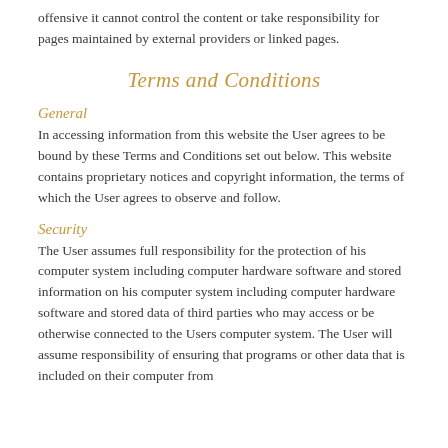offensive it cannot control the content or take responsibility for pages maintained by external providers or linked pages.
Terms and Conditions
General
In accessing information from this website the User agrees to be bound by these Terms and Conditions set out below. This website contains proprietary notices and copyright information, the terms of which the User agrees to observe and follow.
Security
The User assumes full responsibility for the protection of his computer system including computer hardware software and stored information on his computer system including computer hardware software and stored data of third parties who may access or be otherwise connected to the Users computer system. The User will assume responsibility of ensuring that programs or other data that is included on their computer from